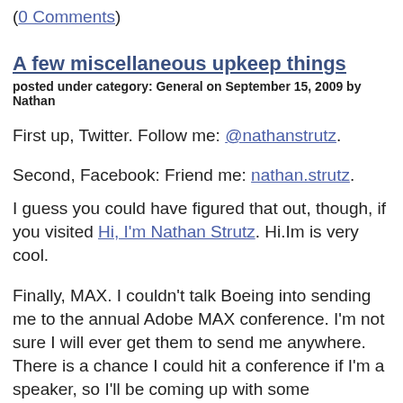(0 Comments)
A few miscellaneous upkeep things
posted under category: General on September 15, 2009 by Nathan
First up, Twitter. Follow me: @nathanstrutz.
Second, Facebook: Friend me: nathan.strutz.
I guess you could have figured that out, though, if you visited Hi, I'm Nathan Strutz. Hi.Im is very cool.
Finally, MAX. I couldn't talk Boeing into sending me to the annual Adobe MAX conference. I'm not sure I will ever get them to send me anywhere. There is a chance I could hit a conference if I'm a speaker, so I'll be coming up with some